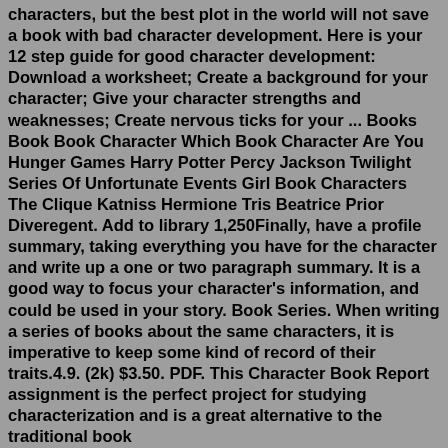characters, but the best plot in the world will not save a book with bad character development. Here is your 12 step guide for good character development: Download a worksheet; Create a background for your character; Give your character strengths and weaknesses; Create nervous ticks for your ... Books Book Book Character Which Book Character Are You Hunger Games Harry Potter Percy Jackson Twilight Series Of Unfortunate Events Girl Book Characters The Clique Katniss Hermione Tris Beatrice Prior Diveregent. Add to library 1,250Finally, have a profile summary, taking everything you have for the character and write up a one or two paragraph summary. It is a good way to focus your character's information, and could be used in your story. Book Series. When writing a series of books about the same characters, it is imperative to keep some kind of record of their traits.4.9. (2k) $3.50. PDF. This Character Book Report assignment is the perfect project for studying characterization and is a great alternative to the traditional book